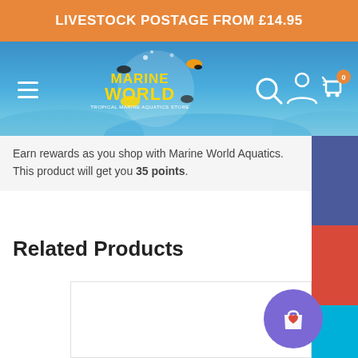LIVESTOCK POSTAGE FROM £14.95
[Figure (logo): Marine World Aquatics logo with tropical fish on a blue gradient navigation bar with hamburger menu, search, account, and cart icons]
Earn rewards as you shop with Marine World Aquatics. This product will get you 35 points.
Related Products
[Figure (screenshot): White product card placeholder area]